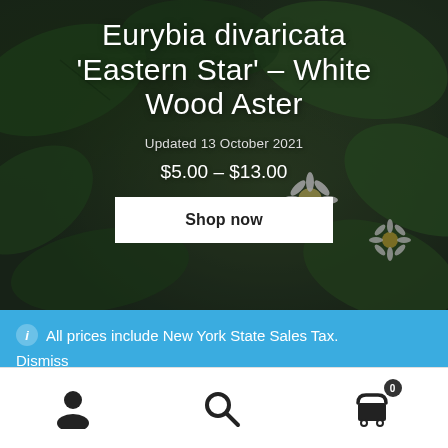[Figure (photo): Dark green leafy background with white wood aster flowers visible, serving as hero image for a plant product listing.]
Eurybia divaricata 'Eastern Star' – White Wood Aster
Updated 13 October 2021
$5.00 – $13.00
Shop now
All prices include New York State Sales Tax.
Dismiss